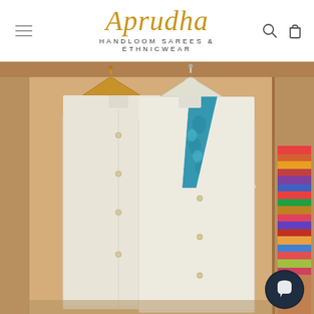Aprudha — HANDLOOM SAREES & ETHNICWEAR
[Figure (photo): Two cream/off-white handloom sleeveless kurtas hanging on wooden hangers in a wardrobe. The front kurta has a V-neck with a teal/turquoise printed fabric lining visible inside. Both garments have small round buttons down the front. A stack of colorful folded fabrics is visible on the right side of the wardrobe.]